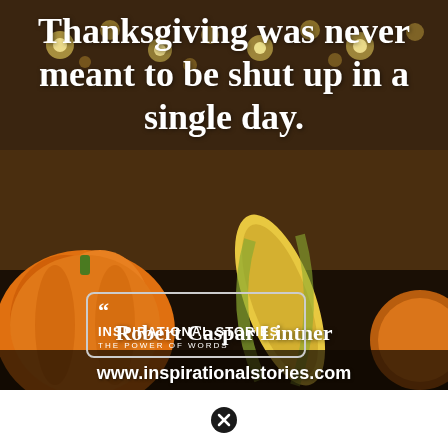[Figure (photo): Thanksgiving-themed background photo with pumpkins, corn, bokeh string lights, and a rustic wooden backdrop in warm orange and brown tones.]
Thanksgiving was never meant to be shut up in a single day.
Robert Caspar Lintner
[Figure (logo): Inspirational Stories logo with quotation marks, text 'INSPIRATIONAL STORIES', subtitle 'THE POWER OF WORDS', inside a rounded rectangle border]
www.inspirationalstories.com